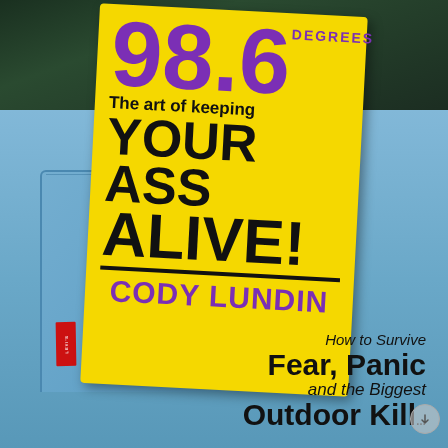[Figure (photo): Book cover of '98.6 Degrees: The art of keeping YOUR ASS ALIVE!' by Cody Lundin, shown tucked into the back pocket of blue jeans. The book cover is yellow with purple and black text. Below the book cover, text reads 'How to Survive Fear, Panic and the Biggest...' (partially cut off).]